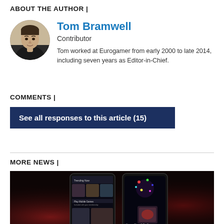ABOUT THE AUTHOR |
[Figure (photo): Circular profile photo of Tom Bramwell, a man in a dark shirt]
Tom Bramwell
Contributor
Tom worked at Eurogamer from early 2000 to late 2014, including seven years as Editor-in-Chief.
COMMENTS |
See all responses to this article (15)
MORE NEWS |
[Figure (screenshot): Dark background image showing two smartphones displaying the Netflix app interface with Stranger Things 3: The Game]